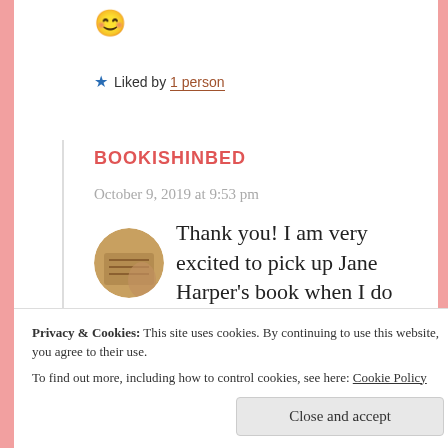😊
★ Liked by 1 person
BOOKISHINBED
October 9, 2019 at 9:53 pm
Thank you! I am very excited to pick up Jane Harper's book when I do
Privacy & Cookies: This site uses cookies. By continuing to use this website, you agree to their use.
To find out more, including how to control cookies, see here: Cookie Policy
Close and accept